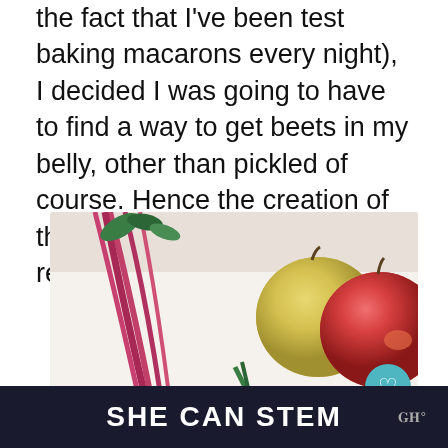the fact that I've been test baking macarons every night), I decided I was going to have to find a way to get beets in my belly, other than pickled of course. Hence the creation of this Beets Apple Carrot Juice recipe.
[Figure (photo): Flat lay photo of beets with stems, carrots, and apples on a white surface. Includes social media overlay buttons (heart, share with 1.1K count) and a 'What's Next' card showing Jamaican Style Carrot...]
SHE CAN STEM